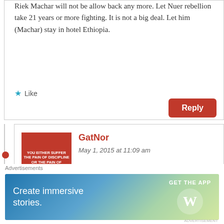Riek Machar will not be allow back any more. Let Nuer rebellion take 21 years or more fighting. It is not a big deal. Let him (Machar) stay in hotel Ethiopia.
Like
Reply
GatNor
May 1, 2015 at 11:09 am
You heard the man — “1991 Has Become A Source Of Employment for Regime’s Supporters”
Advertisements
[Figure (screenshot): WordPress advertisement banner: 'Create immersive stories. GET THE APP' with WordPress logo]